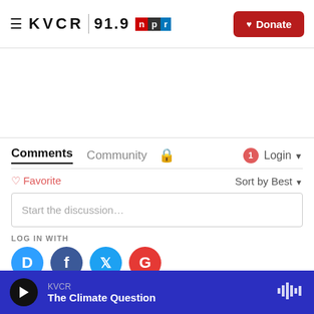KVCR 91.9 NPR | Donate
[Figure (screenshot): Empty advertisement/content area]
Comments  Community  Login
Favorite  Sort by Best
Start the discussion...
LOG IN WITH
[Figure (screenshot): Social login icons: Disqus, Facebook, Twitter, Google]
KVCR  The Climate Question